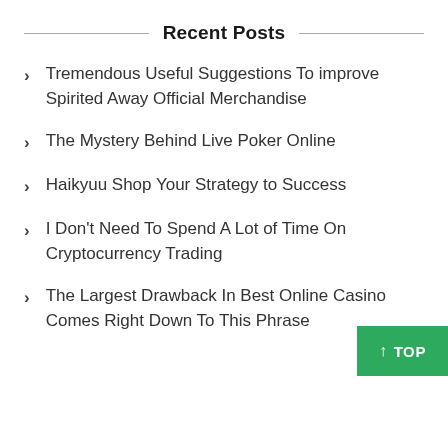Recent Posts
Tremendous Useful Suggestions To improve Spirited Away Official Merchandise
The Mystery Behind Live Poker Online
Haikyuu Shop Your Strategy to Success
I Don't Need To Spend A Lot of Time On Cryptocurrency Trading
The Largest Drawback In Best Online Casino Comes Right Down To This Phrase